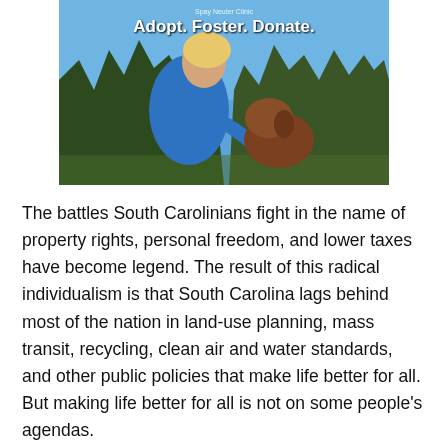[Figure (photo): A person in a blue shirt leaning down toward a brown dog outdoors with trees and blue sky in the background. Text overlay reads 'Adopt. Foster. Donate.']
The battles South Carolinians fight in the name of property rights, personal freedom, and lower taxes have become legend. The result of this radical individualism is that South Carolina lags behind most of the nation in land-use planning, mass transit, recycling, clean air and water standards, and other public policies that make life better for all. But making life better for all is not on some people's agendas.